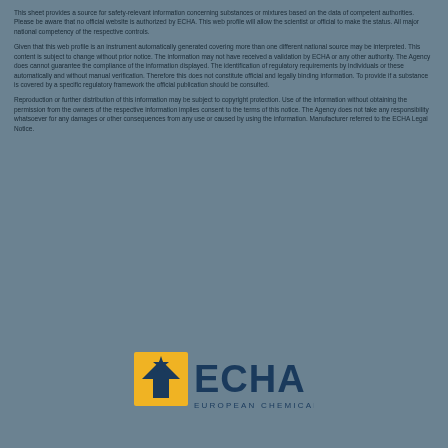This sheet provides a source for safety-relevant information concerning substances or mixtures based on the data of competent authorities. Please be aware that no official website is authorized by ECHA. This web profile will allow the scientist or official to make the status. All major national competency of the respective controls.
Given that this web profile is an instrument automatically generated covering more than one different national source may be interpreted. This content is subject to change without prior notice. The information may not have received a validation by ECHA or any other authority. The Agency does cannot guarantee the compliance of the information displayed. The identification of regulatory requirements by individuals or these automatically and without manual verification. Therefore this does not constitute official and legally binding information. To provide if a substance is covered by a specific regulatory framework the official publication should be consulted.
Reproduction or further distribution of this information may be subject to copyright protection. Use of the information without obtaining the permission from the owners of the respective information implies consent to the terms of this notice. The Agency does not take any responsibility whatsoever for any damages or other consequences from any use or caused by using the information. Manufacturer referred to the ECHA Legal Notice.
[Figure (logo): ECHA European Chemicals Agency logo — yellow arrow/star mark on the left, dark blue 'ECHA' text on the right, with 'EUROPEAN CHEMICALS AGENCY' subtitle in small caps below]